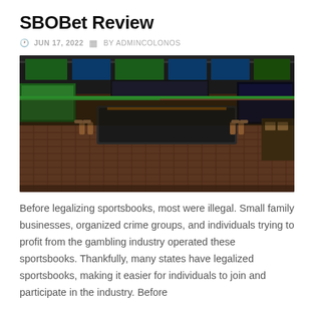SBOBet Review
JUN 17, 2022  BY ADMINCOLONOS
[Figure (photo): Interior of a modern sportsbook facility with large screens displaying sports scores, a central bar area with leather seating, and a decorative tiled floor pattern.]
Before legalizing sportsbooks, most were illegal. Small family businesses, organized crime groups, and individuals trying to profit from the gambling industry operated these sportsbooks. Thankfully, many states have legalized sportsbooks, making it easier for individuals to join and participate in the industry. Before